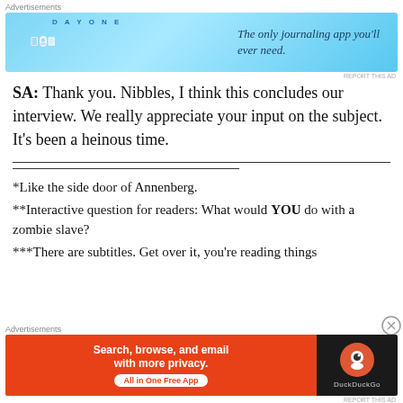[Figure (screenshot): Day One journaling app advertisement banner — blue background with app icons and text 'The only journaling app you'll ever need.']
SA: Thank you. Nibbles, I think this concludes our interview. We really appreciate your input on the subject. It's been a heinous time.
*Like the side door of Annenberg.
**Interactive question for readers: What would YOU do with a zombie slave?
***There are subtitles. Get over it, you're reading things
[Figure (screenshot): DuckDuckGo advertisement banner — orange left side with 'Search, browse, and email with more privacy. All in One Free App' and dark right side with DuckDuckGo logo.]